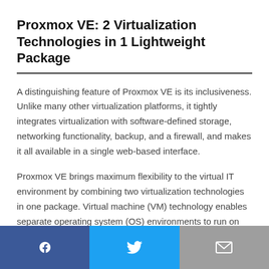Proxmox VE: 2 Virtualization Technologies in 1 Lightweight Package
A distinguishing feature of Proxmox VE is its inclusiveness. Unlike many other virtualization platforms, it tightly integrates virtualization with software-defined storage, networking functionality, backup, and a firewall, and makes it all available in a single web-based interface.
Proxmox VE brings maximum flexibility to the virtual IT environment by combining two virtualization technologies in one package. Virtual machine (VM) technology enables separate operating system (OS) environments to run on top of the same physical server hardware. A hypervisor — or virtual machine monitor — creates and runs these VMs.
[Figure (infographic): Social sharing bar at the bottom with three buttons: Facebook (blue, 'f' icon), Twitter (light blue, bird icon), and Email (grey, envelope icon)]